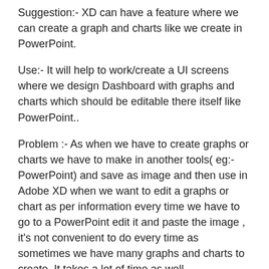Suggestion:- XD can have a feature where we can create a graph and charts like we create in PowerPoint.
Use:- It will help to work/create a UI screens where we design Dashboard with graphs and charts which should be editable there itself like PowerPoint..
Problem :- As when we have to create graphs or charts we have to make in another tools( eg:- PowerPoint) and save as image and then use in Adobe XD when we want to edit a graphs or chart as per information every time we have to go to a PowerPoint edit it and paste the image , it's not convenient to do every time as sometimes we have many graphs and charts to create. It takes a lot of time as well
Souheil commented · June 5, 2019 7:40 AM · Flag as inappropriate
I have created a plugin for that called VizzyCharts. Look for it in the Plugins menu ;)